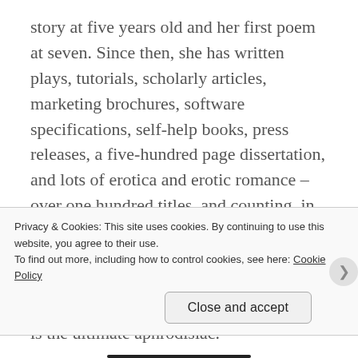story at five years old and her first poem at seven. Since then, she has written plays, tutorials, scholarly articles, marketing brochures, software specifications, self-help books, press releases, a five-hundred page dissertation, and lots of erotica and erotic romance – over one hundred titles, and counting, in nearly every sub-genre—paranormal, scifi, ménage, BDSM, GLBT, and more. Regardless of the genre, every one of her stories illustrates her motto: Imagination is the ultimate aphrodisiac.
You'll find information and excerpts from all Lisabet's books on her website
Privacy & Cookies: This site uses cookies. By continuing to use this website, you agree to their use.
To find out more, including how to control cookies, see here: Cookie Policy
Close and accept